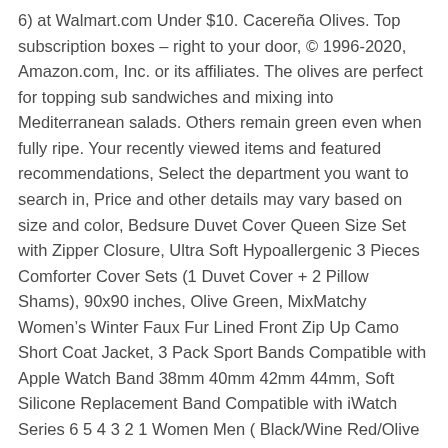6) at Walmart.com Under $10. Cacereña Olives. Top subscription boxes – right to your door, © 1996-2020, Amazon.com, Inc. or its affiliates. The olives are perfect for topping sub sandwiches and mixing into Mediterranean salads. Others remain green even when fully ripe. Your recently viewed items and featured recommendations, Select the department you want to search in, Price and other details may vary based on size and color, Bedsure Duvet Cover Queen Size Set with Zipper Closure, Ultra Soft Hypoallergenic 3 Pieces Comforter Cover Sets (1 Duvet Cover + 2 Pillow Shams), 90x90 inches, Olive Green, MixMatchy Women's Winter Faux Fur Lined Front Zip Up Camo Short Coat Jacket, 3 Pack Sport Bands Compatible with Apple Watch Band 38mm 40mm 42mm 44mm, Soft Silicone Replacement Band Compatible with iWatch Series 6 5 4 3 2 1 Women Men ( Black/Wine Red/Olive Green 42MM/44MM), Permanent Adhesive Vinyl 12" x 6ft, Matte Olive Green, 100pcs 10inch Avocado Green Latex Balloon for Birthday Party Decoration Baby Shower Supplies Wedding Ceremony Balloon Anniversary Decorations Arch Balloon Tower (Avocado Green), AFITNE Women's High Waist Mesh Yoga Leggings